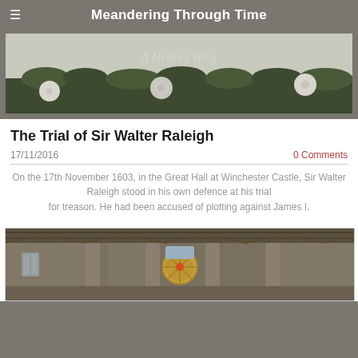Meandering Through Time
[Figure (photo): Banner image showing white roses and ivy against a stone wall with 'A History Blog' text overlay]
The Trial of Sir Walter Raleigh
17/11/2016
0 Comments
On the 17th November 1603, in the Great Hall at Winchester Castle, Sir Walter Raleigh stood in his own defence at his trial for treason. He had been accused of plotting against James I.
[Figure (photo): Interior of Winchester Castle's Great Hall showing stone columns, arched ceiling, and the Round Table mounted on the far wall]